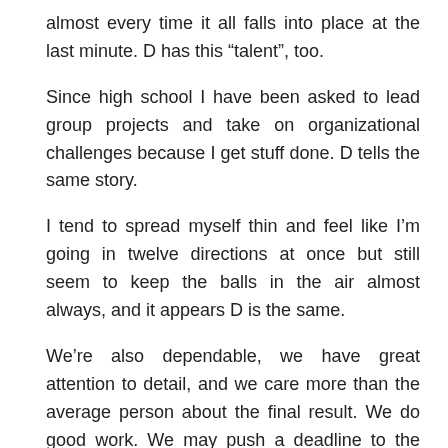almost every time it all falls into place at the last minute. D has this “talent”, too.
Since high school I have been asked to lead group projects and take on organizational challenges because I get stuff done. D tells the same story.
I tend to spread myself thin and feel like I’m going in twelve directions at once but still seem to keep the balls in the air almost always, and it appears D is the same.
We’re also dependable, we have great attention to detail, and we care more than the average person about the final result. We do good work. We may push a deadline to the very last second, but we’re good self-starters and good project finishers. Usually we have good energy. People seem to like us.